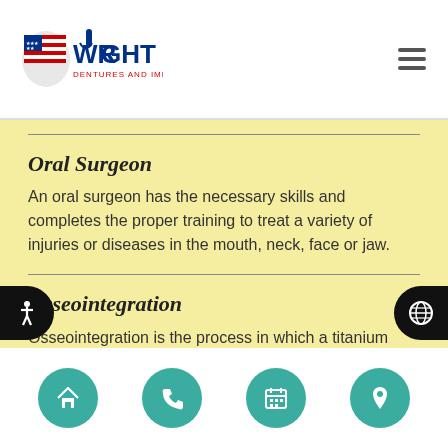Wright Dentures and Implants
Oral Surgeon
An oral surgeon has the necessary skills and completes the proper training to treat a variety of injuries or diseases in the mouth, neck, face or jaw.
Osseointegration
Osseointegration is the process in which a titanium dental implant fuses with the surrounding bone over several months
Home | Phone | Calendar | Location